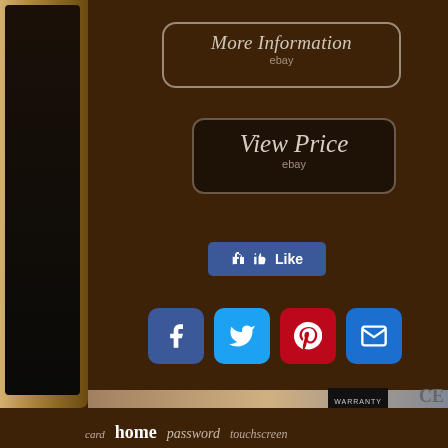[Figure (screenshot): E-commerce product page screenshot showing a Samsung smart door lock. Upper brown section with 'More Information' eBay button, 'View Price' eBay button, a Facebook Like button, and social sharing icons (Facebook, Twitter, Pinterest, Email). Lower section shows a search bar and keyword tags: card, home, password, touchscreen, samsung, control, biometric, security, entry, doorlock, smart.]
More Information
ebay
View Price
ebay
Like
card  home  password  touchscreen  samsung  control  biometric  security  entry  doorlock  smart